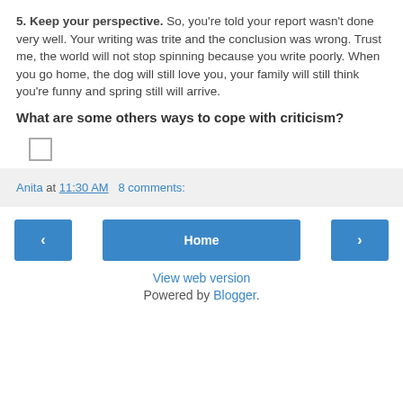5. Keep your perspective. So, you're told your report wasn't done very well. Your writing was trite and the conclusion was wrong. Trust me, the world will not stop spinning because you write poorly. When you go home, the dog will still love you, your family will still think you're funny and spring still will arrive.
What are some others ways to cope with criticism?
[Figure (other): A checkbox (empty square)]
Anita at 11:30 AM   8 comments:
< [navigation button]   Home   > [navigation button]
View web version
Powered by Blogger.